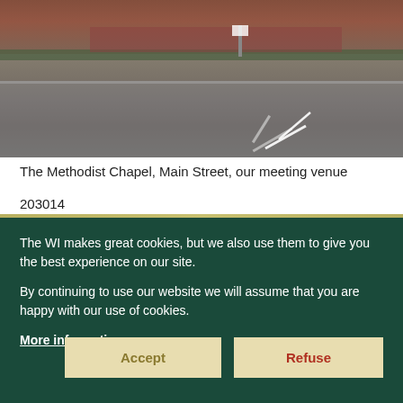[Figure (photo): Street-level photo showing a road junction with road markings (white arrows), a brick wall with vegetation, and red-brick houses in the background on an overcast day.]
The Methodist Chapel, Main Street, our meeting venue
203014
The WI makes great cookies, but we also use them to give you the best experience on our site.

By continuing to use our website we will assume that you are happy with our use of cookies.

More information
Accept
Refuse